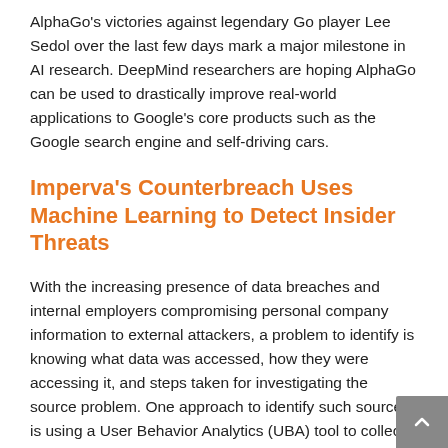AlphaGo's victories against legendary Go player Lee Sedol over the last few days mark a major milestone in AI research. DeepMind researchers are hoping AlphaGo can be used to drastically improve real-world applications to Google's core products such as the Google search engine and self-driving cars.
Imperva's Counterbreach Uses Machine Learning to Detect Insider Threats
With the increasing presence of data breaches and internal employers compromising personal company information to external attackers, a problem to identify is knowing what data was accessed, how they were accessing it, and steps taken for investigating the source problem. One approach to identify such sources is using a User Behavior Analytics (UBA) tool to collect user behavior monitoring data. These metrics offer transparency into potential insider threats, but they can